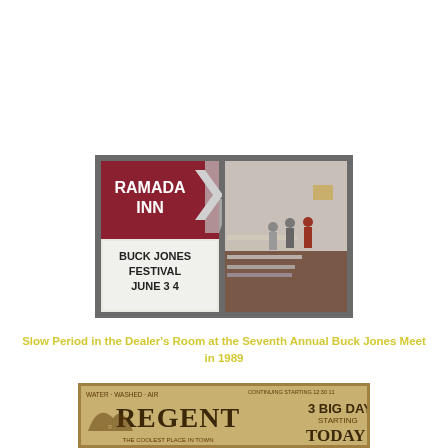[Figure (photo): Two photos side by side in a gray frame. Left: Ramada Inn sign with marquee reading 'BUCK JONES FESTIVAL JUNE 3 4'. Right: Interior shot of a dealer's room with people browsing tables.]
Slow Period in the Dealer's Room at the Seventh Annual Buck Jones Meet in 1989
[Figure (photo): Old advertisement for the Regent theater with text 'WATER WASHED AIR', '3 BIG DAYS', 'STARTING', 'TODAY', and 'THE COOLEST PLACE IN TOWN'.]